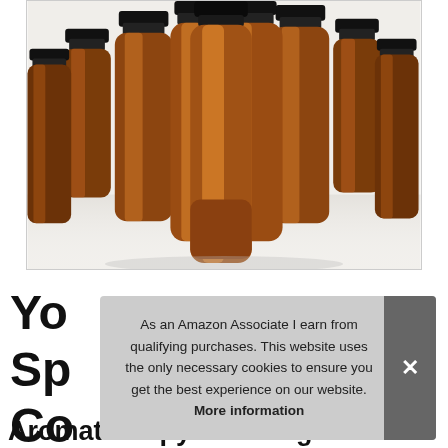[Figure (photo): Multiple amber glass dropper bottles with black caps, arranged in a group on a white reflective surface, photographed from the front.]
Yo Sp Co
As an Amazon Associate I earn from qualifying purchases. This website uses the only necessary cookies to ensure you get the best experience on our website. More information
Aromatherapy Cleaning Products